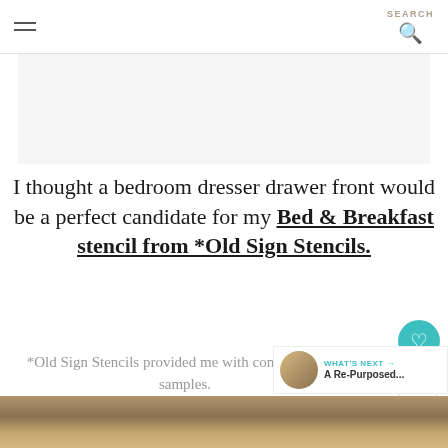SEARCH
[Figure (photo): Light gray rectangular advertisement or image placeholder area]
I thought a bedroom dresser drawer front would be a perfect candidate for my Bed & Breakfast stencil from *Old Sign Stencils.
*Old Sign Stencils provided me with complimentary samples. All opinions about these fabulous products are my own.
[Figure (photo): Bottom strip photo showing a wooden surface or craft project in progress]